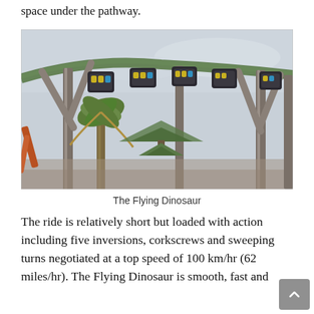space under the pathway.
[Figure (photo): Photo of The Flying Dinosaur roller coaster at Universal Studios Japan, showing riders suspended from an overhead track with palm trees and grey sky in background]
The Flying Dinosaur
The ride is relatively short but loaded with action including five inversions, corkscrews and sweeping turns negotiated at a top speed of 100 km/hr (62 miles/hr). The Flying Dinosaur is smooth, fast and